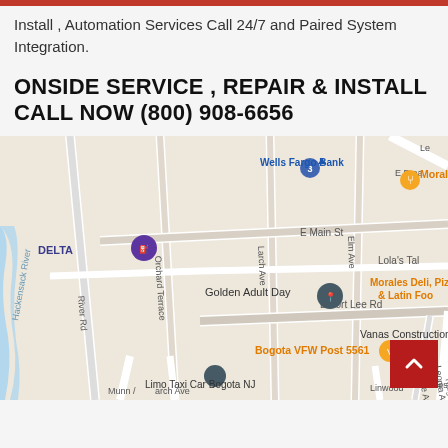Install , Automation Services Call 24/7 and Paired System Integration.
ONSIDE SERVICE , REPAIR & INSTALL CALL NOW (800) 908-6656
[Figure (map): Google Maps screenshot showing Bogota, NJ area with streets including River Rd, Orchard Terrace, Larch Ave, Elm Ave, E Main St, E Fort Lee Rd, W Shore Ave, Leonia Ave, Ridgefield Ave, Linwood. Points of interest include Wells Fargo Bank, Morales Pizzeria, DELTA gas station, Golden Adult Day, Lola's Tal, Morales Deli Pizz & Latin Foo, Bogota VFW Post 5561, Vanas Construction, Limo Taxi Car Bogota NJ. Hackensack River visible on left.]